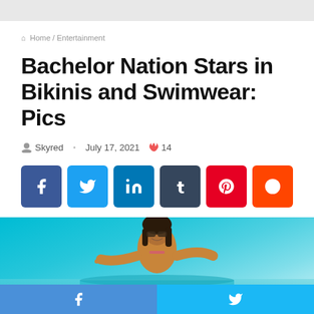Home / Entertainment
Bachelor Nation Stars in Bikinis and Swimwear: Pics
Skyred · July 17, 2021 🔥 14
[Figure (infographic): Six social media share buttons: Facebook (blue), Twitter (light blue), LinkedIn (blue), Tumblr (dark slate), Pinterest (red), Reddit (orange-red)]
[Figure (photo): Woman with sunglasses smiling at the beach with turquoise water in background]
[Figure (infographic): Bottom bar with Facebook and Twitter share buttons in blue]